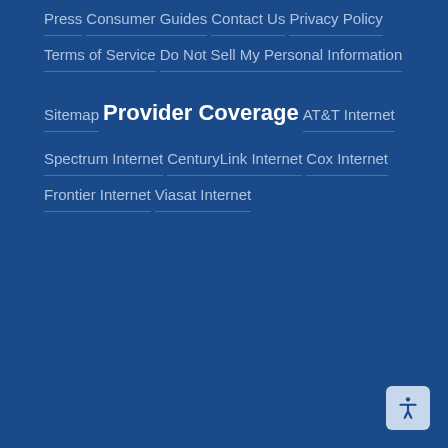Press
Consumer Guides
Contact Us
Privacy Policy
Terms of Service
Do Not Sell My Personal Information
Sitemap
Provider Coverage
AT&T Internet
Spectrum Internet
CenturyLink Internet
Cox Internet
Frontier Internet
Viasat Internet